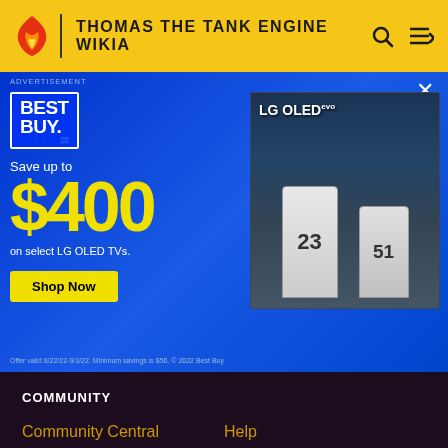THOMAS THE TANK ENGINE WIKIA
[Figure (screenshot): Best Buy advertisement banner with blue background. Shows 'Save up to $400 on select LG OLED TVs.' with Shop Now button. Right side shows LG OLED evo TV displaying football players with numbers 23 and 51.]
ADVERTISEMENT
Offer valid 8/22/22-9/3/22. Minimum savings is $50. © 2022 Best Buy
COMMUNITY
Community Central
Help
Support
ADVERTISE
Media Kit
Fandomatic